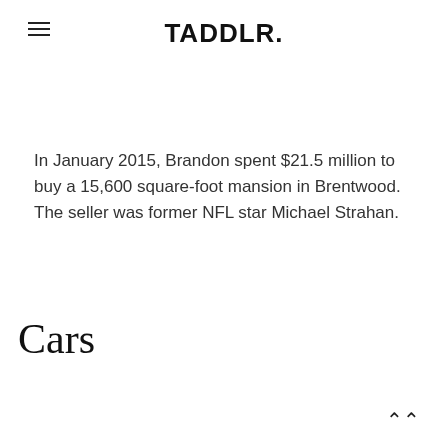TADDLR.
In January 2015, Brandon spent $21.5 million to buy a 15,600 square-foot mansion in Brentwood. The seller was former NFL star Michael Strahan.
Cars